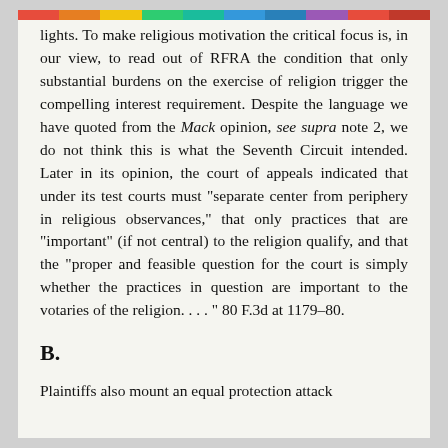lights. To make religious motivation the critical focus is, in our view, to read out of RFRA the condition that only substantial burdens on the exercise of religion trigger the compelling interest requirement. Despite the language we have quoted from the Mack opinion, see supra note 2, we do not think this is what the Seventh Circuit intended. Later in its opinion, the court of appeals indicated that under its test courts must "separate center from periphery in religious observances," that only practices that are "important" (if not central) to the religion qualify, and that the "proper and feasible question for the court is simply whether the practices in question are important to the votaries of the religion. . . . " 80 F.3d at 1179–80.
B.
Plaintiffs also mount an equal protection attack